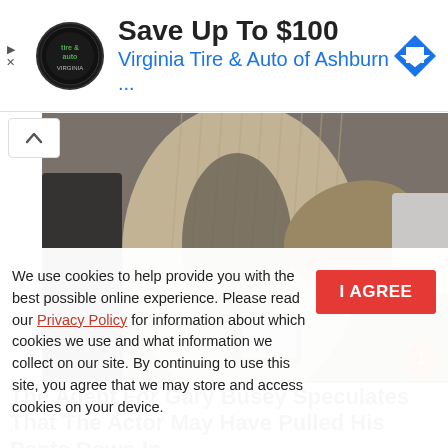[Figure (other): Advertisement banner for Virginia Tire & Auto of Ashburn with logo, text 'Save Up To $100', and a blue diamond direction arrow icon]
[Figure (photo): Partial photo of a person wearing a beige/cream ribbed sweater, holding papers and a phone, outdoors near cars]
The Agent For Gary Busey Speculates That The Actor May Have Pulled His Pants Down In
We use cookies to help provide you with the best possible online experience. Please read our Privacy Policy for information about which cookies we use and what information we collect on our site. By continuing to use this site, you agree that we may store and access cookies on your device.